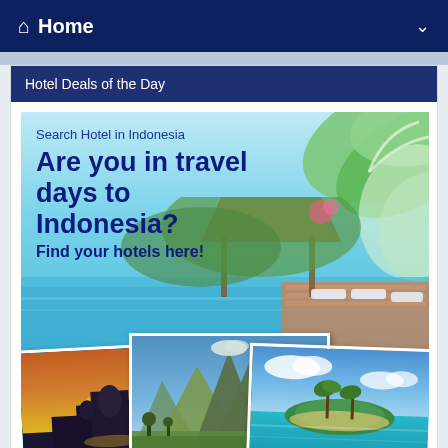Home
Hotel Deals of the Day
[Figure (illustration): Hotel search promotional banner for Indonesia travel. Features a tropical resort infinity pool with pavilion, palm leaves, and text overlay reading 'Search Hotel in Indonesia — Are you in travel days to Indonesia? Find your hotels here!' with three scenic photos at bottom showing Borobudur temple, volcanic mountains, and tropical island.]